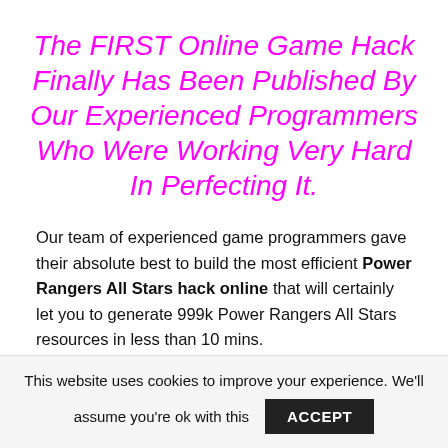The FIRST Online Game Hack Finally Has Been Published By Our Experienced Programmers Who Were Working Very Hard In Perfecting It.
Our team of experienced game programmers gave their absolute best to build the most efficient Power Rangers All Stars hack online that will certainly let you to generate 999k Power Rangers All Stars resources in less than 10 mins.
Power Rangers All Stars Hack 2020 – Obtain Unlimited
This website uses cookies to improve your experience. We'll assume you're ok with this ACCEPT